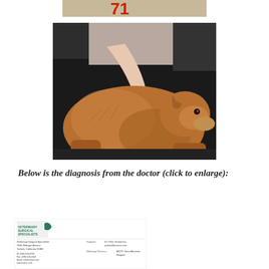[Figure (photo): Partial image at top of page showing red text/numbers cropped at top edge]
[Figure (photo): Photo of a golden retriever dog lying down with a person's hand petting/examining its back/side. The dog has golden reddish-brown fur and appears to be resting on a dark surface.]
Below is the diagnosis from the doctor (click to enlarge):
[Figure (photo): Thumbnail image of a veterinary medical document/diagnosis form from Veterinary Surgical Specialists, 2345 Gillespie Avenue, Turlock, California 95382. Shows patient name, referring clinician, and other medical form fields partially visible.]